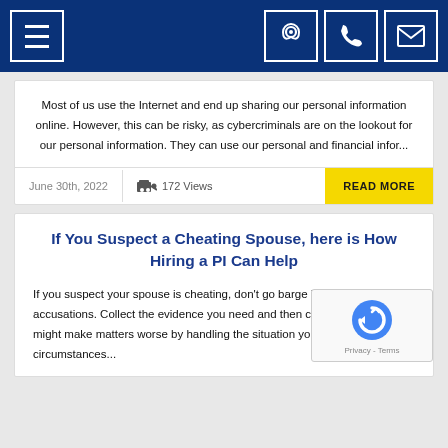Navigation bar with menu, location, phone, and email icons
Most of us use the Internet and end up sharing our personal information online. However, this can be risky, as cybercriminals are on the lookout for our personal information. They can use our personal and financial infor...
June 30th, 2022  172 Views  READ MORE
If You Suspect a Cheating Spouse, here is How Hiring a PI Can Help
If you suspect your spouse is cheating, don't go barge in making accusations. Collect the evidence you need and then confront t... You might make matters worse by handling the situation yours... such circumstances...